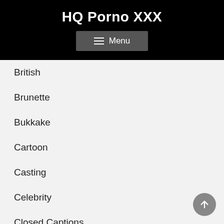HQ Porno XXX
[Figure (screenshot): Menu navigation button with hamburger icon]
British
Brunette
Bukkake
Cartoon
Casting
Celebrity
Closed Captions
College
Compilation
Cosplay
Creampie